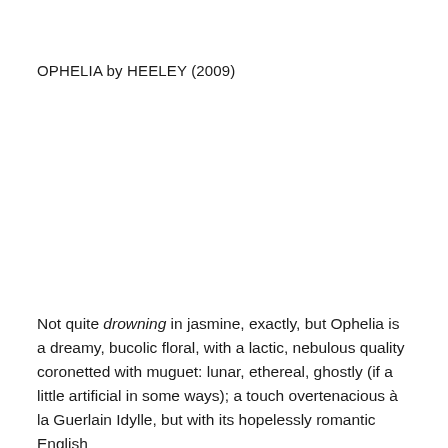OPHELIA by HEELEY (2009)
Not quite drowning in jasmine, exactly, but Ophelia is a dreamy, bucolic floral, with a lactic, nebulous quality coronetted with muguet: lunar, ethereal, ghostly (if a little artificial in some ways); a touch overtenacious à la Guerlain Idylle, but with its hopelessly romantic English